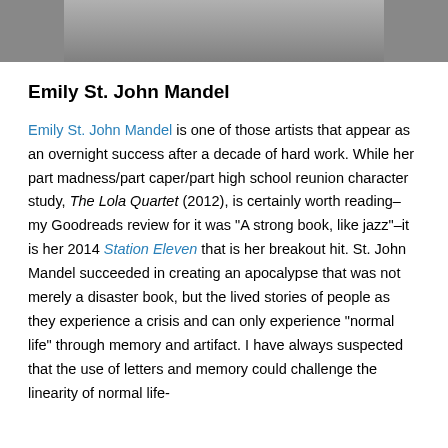[Figure (photo): Bottom portion of a black and white photo of a person, showing shoulders/torso area in dark clothing]
Emily St. John Mandel
Emily St. John Mandel is one of those artists that appear as an overnight success after a decade of hard work. While her part madness/part caper/part high school reunion character study, The Lola Quartet (2012), is certainly worth reading–my Goodreads review for it was “A strong book, like jazz”–it is her 2014 Station Eleven that is her breakout hit. St. John Mandel succeeded in creating an apocalypse that was not merely a disaster book, but the lived stories of people as they experience a crisis and can only experience “normal life” through memory and artifact. I have always suspected that the use of letters and memory could challenge the linearity of normal life- and St. John Mandel does that with